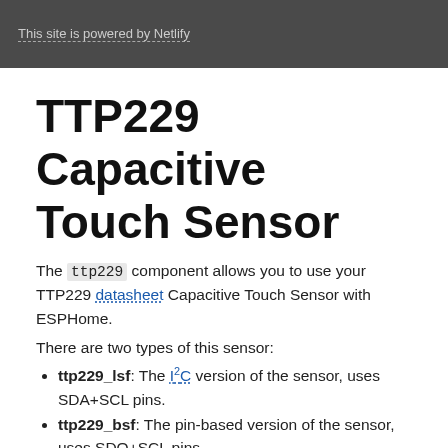This site is powered by Netlify
TTP229 Capacitive Touch Sensor
The ttp229 component allows you to use your TTP229 datasheet Capacitive Touch Sensor with ESPHome.
There are two types of this sensor:
ttp229_lsf: The I²C version of the sensor, uses SDA+SCL pins.
ttp229_bsf: The pin-based version of the sensor, uses SDO+SCL pins.
RobotDyn